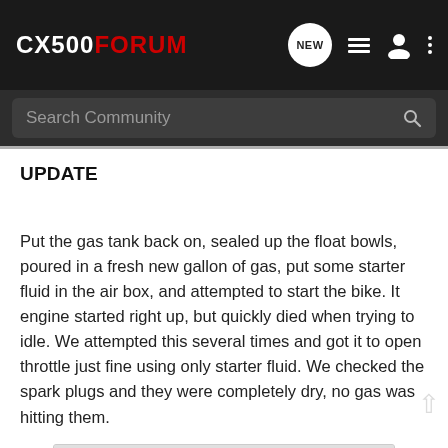CX500FORUM
Search Community
UPDATE
Put the gas tank back on, sealed up the float bowls, poured in a fresh new gallon of gas, put some starter fluid in the air box, and attempted to start the bike. It engine started right up, but quickly died when trying to idle. We attempted this several times and got it to open throttle just fine using only starter fluid. We checked the spark plugs and they were completely dry, no gas was hitting them.
[Figure (other): Advertisement placeholder with circular pattern]
We cam [content continues] gged